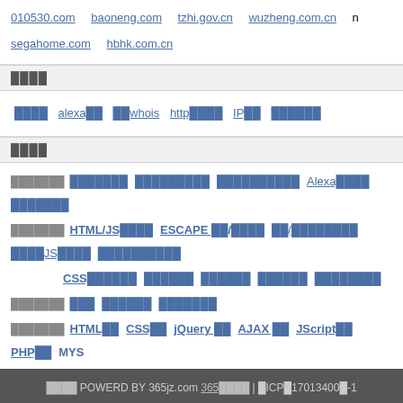010530.com  baoneng.com  tzhi.gov.cn  wuzheng.com.cn  n  segahome.com  hbhk.com.cn
████
████  alexa██  ██whois  http████  IP██  ██████
████
███████  ███████  █████████  ██████████  Alexa████  ███████
███████  HTML/JS████  ESCAPE ██/████  ██/████████  ████JS████  ██████████
CSS██████  ██████  ██████  ██████  ████████
███████  ███  ██████  ███████
███████  HTML██  CSS██  jQuery ██  AJAX ██  JScript██  PHP██  MYS
████ POWERD BY 365jz.com 365████ | █ICP█17013400█-1